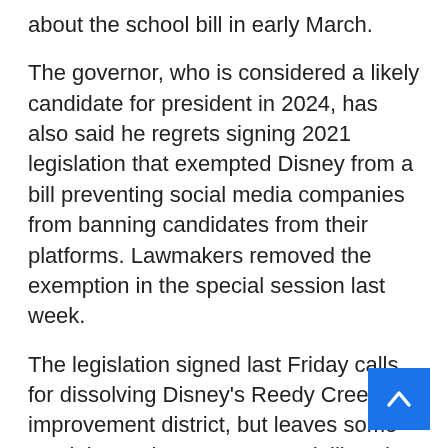about the school bill in early March.
The governor, who is considered a likely candidate for president in 2024, has also said he regrets signing 2021 legislation that exempted Disney from a bill preventing social media companies from banning candidates from their platforms. Lawmakers removed the exemption in the special session last week.
The legislation signed last Friday calls for dissolving Disney's Reedy Creek improvement district, but leaves some crucial questions unanswered, like what will happen to the US$1bil(RM4.3bil) in bonds backed by the district and who would take care of the services the company currently provides?